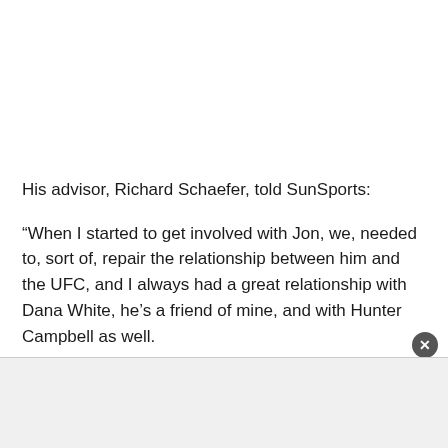His advisor, Richard Schaefer, told SunSports:
“When I started to get involved with Jon, we, needed to, sort of, repair the relationship between him and the UFC, and I always had a great relationship with Dana White, he’s a friend of mine, and with Hunter Campbell as well.